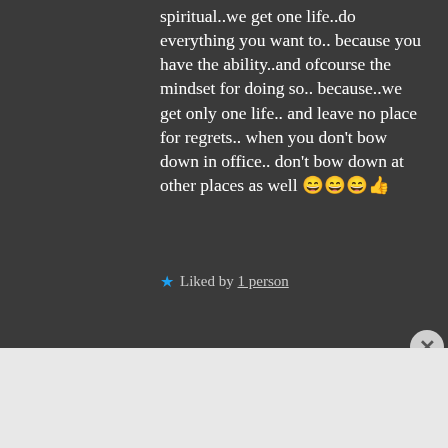spiritual..we get one life..do everything you want to.. because you have the ability..and ofcourse the mindset for doing so.. because..we get only one life.. and leave no place for regrets.. when you don't bow down in office.. don't bow down at other places as well 😄😄😄👍
★ Liked by 1 person
[Figure (screenshot): DuckDuckGo advertisement banner: orange left section with text 'Search, browse, and email with more privacy. All in One Free App', dark right section with DuckDuckGo duck logo and brand name.]